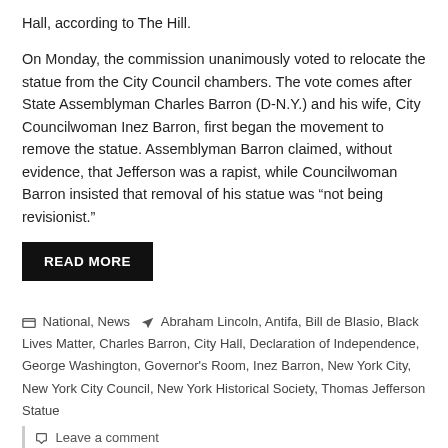Hall, according to The Hill.
On Monday, the commission unanimously voted to relocate the statue from the City Council chambers. The vote comes after State Assemblyman Charles Barron (D-N.Y.) and his wife, City Councilwoman Inez Barron, first began the movement to remove the statue. Assemblyman Barron claimed, without evidence, that Jefferson was a rapist, while Councilwoman Barron insisted that removal of his statue was “not being revisionist.”
READ MORE
National, News  Abraham Lincoln, Antifa, Bill de Blasio, Black Lives Matter, Charles Barron, City Hall, Declaration of Independence, George Washington, Governor's Room, Inez Barron, New York City, New York City Council, New York Historical Society, Thomas Jefferson Statue
Leave a comment
NYC Teachers Make Last-Minute Appeal